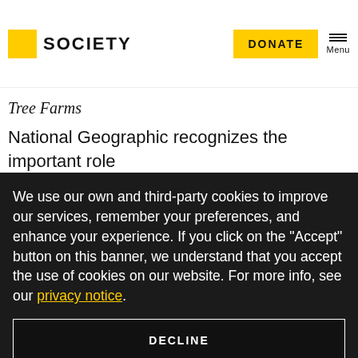SOCIETY | DONATE | Menu
Tree Farms
National Geographic recognizes the important role
We use our own and third-party cookies to improve our services, remember your preferences, and enhance your experience. If you click on the "Accept" button on this banner, we understand that you accept the use of cookies on our website. For more info, see our privacy notice.
DECLINE
ACCEPT